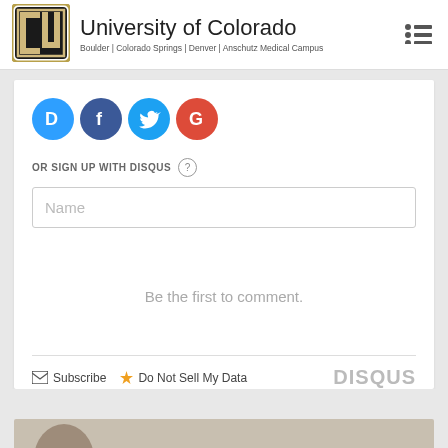University of Colorado | Boulder | Colorado Springs | Denver | Anschutz Medical Campus
[Figure (logo): University of Colorado circular logo with CU letters in gold and black]
OR SIGN UP WITH DISQUS ?
Name
Be the first to comment.
Subscribe  Do Not Sell My Data  DISQUS